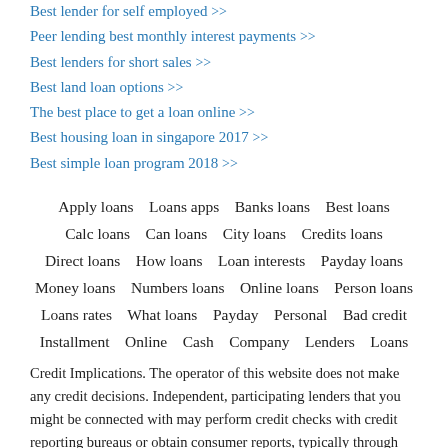Best lender for self employed >>
Peer lending best monthly interest payments >>
Best lenders for short sales >>
Best land loan options >>
The best place to get a loan online >>
Best housing loan in singapore 2017 >>
Best simple loan program 2018 >>
Apply loans   Loans apps   Banks loans   Best loans   Calc loans   Can loans   City loans   Credits loans   Direct loans   How loans   Loan interests   Payday loans   Money loans   Numbers loans   Online loans   Person loans   Loans rates   What loans   Payday   Personal   Bad credit   Installment   Online   Cash   Company   Lenders   Loans
Credit Implications. The operator of this website does not make any credit decisions. Independent, participating lenders that you might be connected with may perform credit checks with credit reporting bureaus or obtain consumer reports, typically through